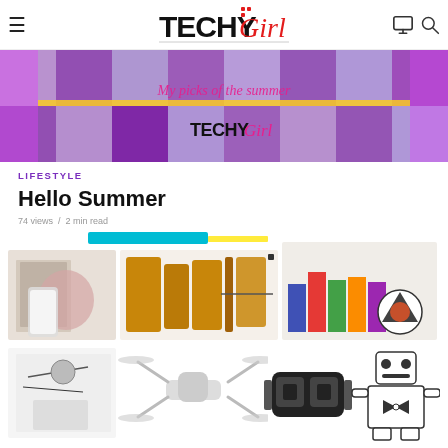TechyGirl
[Figure (photo): TechyGirl website hero banner showing 'My picks of the summer' text over purple mosaic background with TechyGirl logo]
LIFESTYLE
Hello Summer
74 views / 2 min read
[Figure (photo): Collage of tech gadgets: drone, VR headset, robot toy, phone on fur, leather wallets, books with speaker, phone accessories]